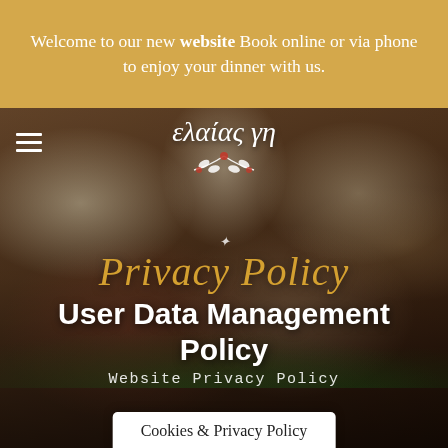Welcome to our new website Book online or via phone to enjoy your dinner with us.
[Figure (photo): Restaurant table setting with candles, roses, and gold decorations. Overlaid with restaurant logo 'ελαίας γη' and navigation hamburger menu icon.]
Privacy Policy
User Data Management Policy
Website Privacy Policy
Cookies & Privacy Policy